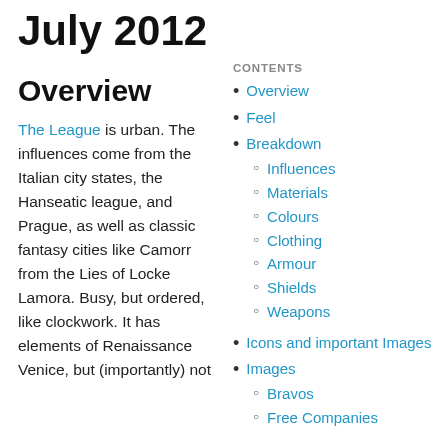July 2012
Overview
The League is urban. The influences come from the Italian city states, the Hanseatic league, and Prague, as well as classic fantasy cities like Camorr from the Lies of Locke Lamora. Busy, but ordered, like clockwork. It has elements of Renaissance Venice, but (importantly) not
Overview
Feel
Breakdown
Influences
Materials
Colours
Clothing
Armour
Shields
Weapons
Icons and important Images
Images
Bravos
Free Companies